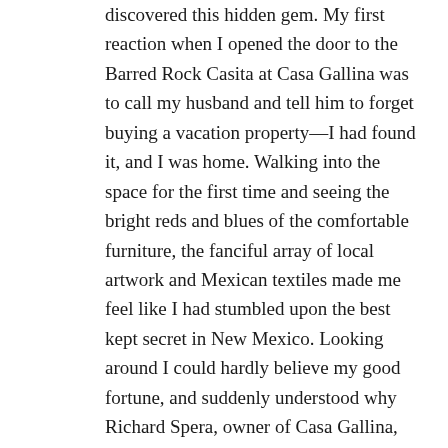discovered this hidden gem. My first reaction when I opened the door to the Barred Rock Casita at Casa Gallina was to call my husband and tell him to forget buying a vacation property—I had found it, and I was home. Walking into the space for the first time and seeing the bright reds and blues of the comfortable furniture, the fanciful array of local artwork and Mexican textiles made me feel like I had stumbled upon the best kept secret in New Mexico. Looking around I could hardly believe my good fortune, and suddenly understood why Richard Spera, owner of Casa Gallina, had insisted on a minimum stay of two nights. Over the phone Richard had promised me that once we were there, we wouldn't want to leave.